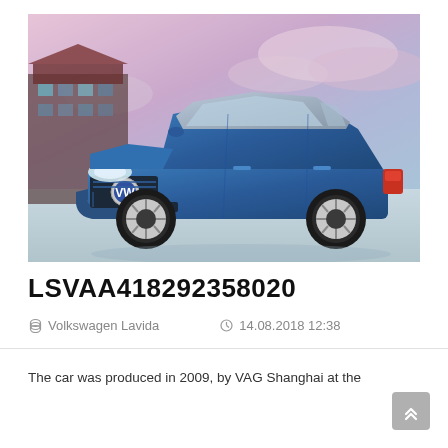[Figure (photo): A blue Volkswagen Lavida sedan (labeled 'New Lavida') photographed from a front-left angle against a purple/pink sky background with a building visible on the left.]
LSVAA418292358020
Volkswagen Lavida   14.08.2018 12:38
The car was produced in 2009, by VAG Shanghai at the